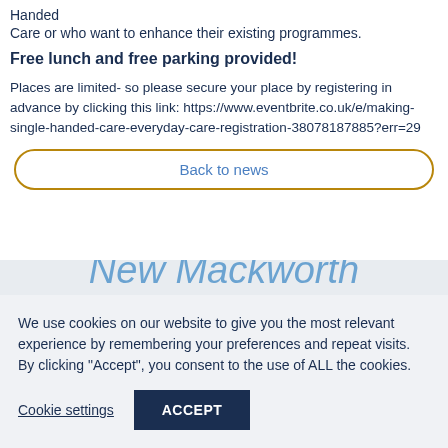Handed
Care or who want to enhance their existing programmes.
Free lunch and free parking provided!
Places are limited- so please secure your place by registering in advance by clicking this link: https://www.eventbrite.co.uk/e/making-single-handed-care-everyday-care-registration-38078187885?err=29
Back to news
New Mackworth Essentials Slings Available...
We use cookies on our website to give you the most relevant experience by remembering your preferences and repeat visits. By clicking "Accept", you consent to the use of ALL the cookies.
Cookie settings
ACCEPT